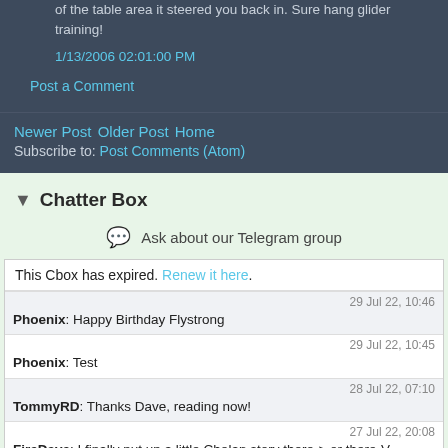of the table area it steered you back in. Sure hang glider training!
1/13/2006 02:01:00 PM
Post a Comment
Newer Post Older Post Home
Subscribe to: Post Comments (Atom)
Chatter Box
Ask about our Telegram group
This Cbox has expired. Renew it here.
Phoenix: Happy Birthday Flystrong — 29 Jul 22, 10:46
Phoenix: Test — 29 Jul 22, 10:45
TommyRD: Thanks Dave, reading now! — 28 Jul 22, 07:10
FireDave: I finally put up a little Chelan story there-> or there-V — 27 Jul 22, 20:08
Olivier: My latest video about a recent hike and fly in Big Sky Montana: [link] — 24 Jun 22, 19:56